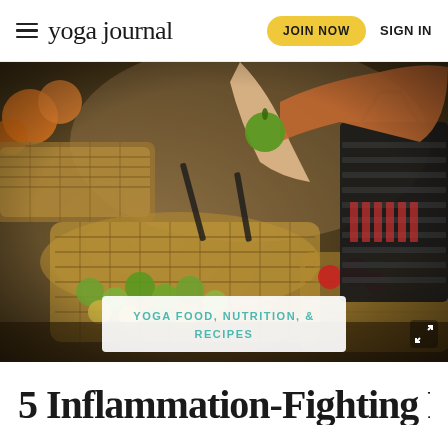yoga journal | JOIN NOW | SIGN IN
[Figure (photo): Person holding a green apple at a market stall with wicker baskets full of fruits and vegetables, and a black shopping basket on the right]
YOGA FOOD, NUTRITION, & RECIPES
5 Inflammation-Fighting Foods